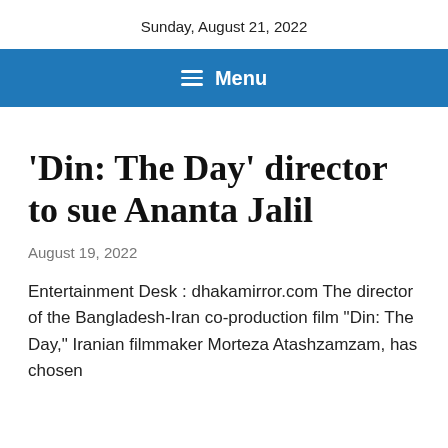Sunday, August 21, 2022
☰ Menu
'Din: The Day' director to sue Ananta Jalil
August 19, 2022
Entertainment Desk : dhakamirror.com The director of the Bangladesh-Iran co-production film "Din: The Day," Iranian filmmaker Morteza Atashzamzam, has chosen